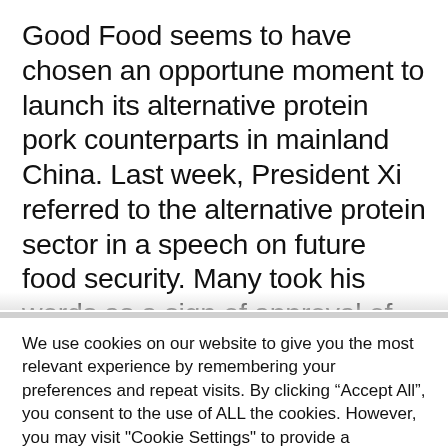Good Food seems to have chosen an opportune moment to launch its alternative protein pork counterparts in mainland China. Last week, President Xi referred to the alternative protein sector in a speech on future food security. Many took his words as a sign of approval of vegetarian and farmed meat, which could lead to government support. Food security is an ongoing
We use cookies on our website to give you the most relevant experience by remembering your preferences and repeat visits. By clicking “Accept All”, you consent to the use of ALL the cookies. However, you may visit "Cookie Settings" to provide a controlled consent.